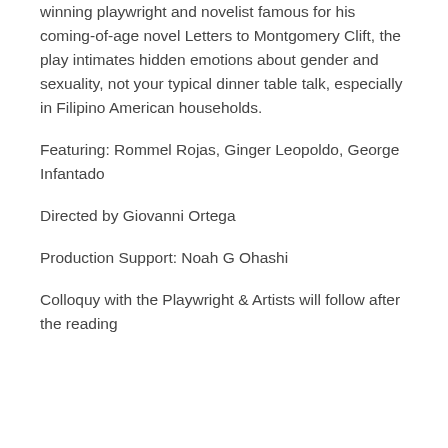winning playwright and novelist famous for his coming-of-age novel Letters to Montgomery Clift, the play intimates hidden emotions about gender and sexuality, not your typical dinner table talk, especially in Filipino American households.
Featuring: Rommel Rojas, Ginger Leopoldo, George Infantado
Directed by Giovanni Ortega
Production Support: Noah G Ohashi
Colloquy with the Playwright & Artists will follow after the reading